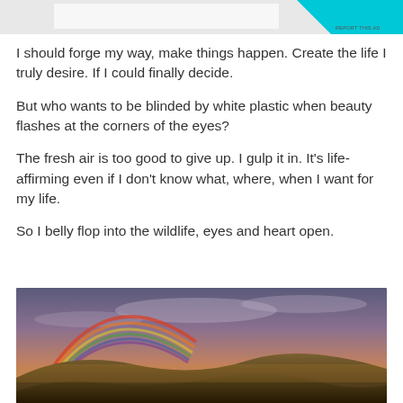[Figure (other): Advertisement banner with cyan/teal triangle and rectangle shape at top right, gray background. Small 'REPORT THIS AD' text.]
I should forge my way, make things happen. Create the life I truly desire. If I could finally decide.
But who wants to be blinded by white plastic when beauty flashes at the corners of the eyes?
The fresh air is too good to give up. I gulp it in. It's life-affirming even if I don't know what, where, when I want for my life.
So I belly flop into the wildlife, eyes and heart open.
[Figure (photo): Landscape photo of a rainbow over golden-lit hills at dusk, with cloudy sky in purple and orange hues.]